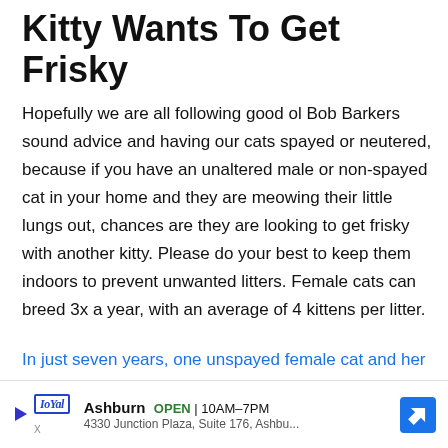Kitty Wants To Get Frisky
Hopefully we are all following good ol Bob Barkers sound advice and having our cats spayed or neutered, because if you have an unaltered male or non-spayed cat in your home and they are meowing their little lungs out, chances are they are looking to get frisky with another kitty. Please do your best to keep them indoors to prevent unwanted litters. Female cats can breed 3x a year, with an average of 4 kittens per litter.
In just seven years, one unspayed female cat and her offspring can produce 420,000 kittens. Thats a whole lot of cats, lets do our best to keep those numbers nowhere close to that and keep frisky kitties
[Figure (other): Advertisement banner: Loyal logo with play icon, Ashburn location, OPEN 10AM-7PM, 4330 Junction Plaza, Suite 176, Ashbu..., navigation arrow icon on the right]